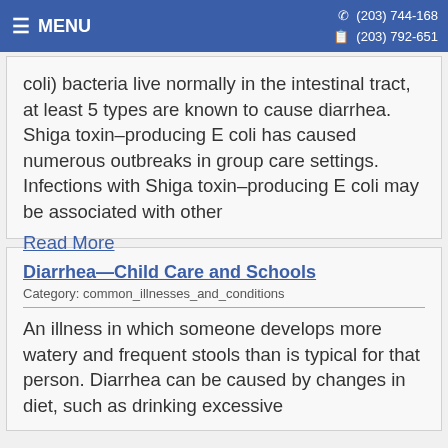MENU  (203) 744-168  (203) 792-651
coli) bacteria live normally in the intestinal tract, at least 5 types are known to cause diarrhea. Shiga toxin–producing E coli has caused numerous outbreaks in group care settings. Infections with Shiga toxin–producing E coli may be associated with other
Read More
Diarrhea—Child Care and Schools
Category: common_illnesses_and_conditions
An illness in which someone develops more watery and frequent stools than is typical for that person. Diarrhea can be caused by changes in diet, such as drinking excessive